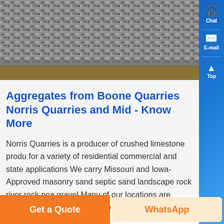[Figure (photo): Close-up photograph of crushed limestone aggregate / gravel material in black and white tones, showing interlocking stone pieces]
Aggregates from Boone Quarries Norris Quarries and Mid - Know More
Norris Quarries is a producer of crushed limestone produ for a variety of residential commercial and state applications We carry Missouri and Iowa-Approved masonry sand septic sand landscape rock river rock pea gravel Many of our locations are certified to provide material to the US Army Corps of Engineers as well...